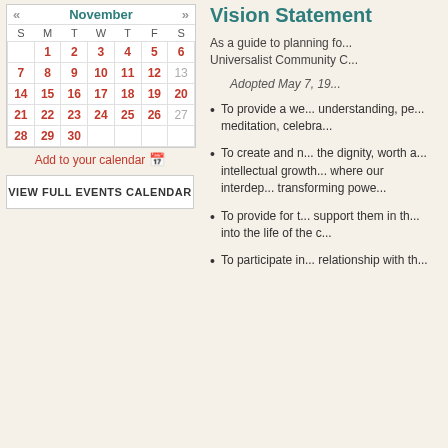| S | M | T | W | T | F | S |
| --- | --- | --- | --- | --- | --- | --- |
|  | 1 | 2 | 3 | 4 | 5 | 6 |
| 7 | 8 | 9 | 10 | 11 | 12 | 13 |
| 14 | 15 | 16 | 17 | 18 | 19 | 20 |
| 21 | 22 | 23 | 24 | 25 | 26 | 27 |
| 28 | 29 | 30 |  |  |  |  |
Add to your calendar
VIEW FULL EVENTS CALENDAR
Vision Statement
As a guide to planning fo... Universalist Community C...
Adopted May 7, 19...
To provide a we... understanding, pe... meditation, celebra...
To create and n... the dignity, worth a... intellectual growth... where our interdep... transforming powe...
To provide for t... support them in th... into the life of the c...
To participate in... relationship with th...